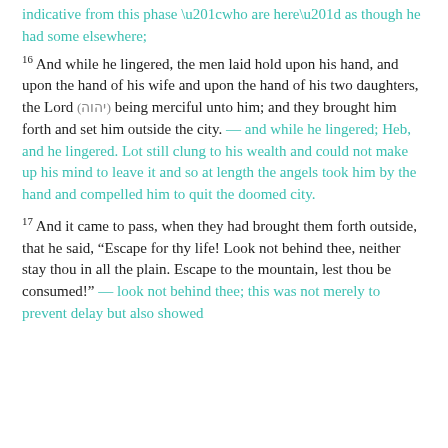indicative from this phase “who are here” as though he had some elsewhere;
16 And while he lingered, the men laid hold upon his hand, and upon the hand of his wife and upon the hand of his two daughters, the Lord (יהוה) being merciful unto him; and they brought him forth and set him outside the city. — and while he lingered; Heb, and he lingered. Lot still clung to his wealth and could not make up his mind to leave it and so at length the angels took him by the hand and compelled him to quit the doomed city.
17 And it came to pass, when they had brought them forth outside, that he said, “Escape for thy life! Look not behind thee, neither stay thou in all the plain. Escape to the mountain, lest thou be consumed!” — look not behind thee; this was not merely to prevent delay but also showed